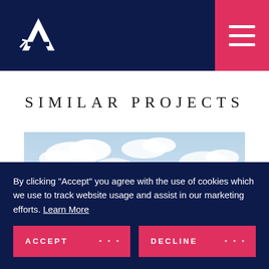Navigation bar with logo and menu button
SIMILAR PROJECTS
[Figure (photo): Outdoor photo showing sky with clouds and what appears to be a light pole or structure, partially visible at the bottom]
By clicking "Accept" you agree with the use of cookies which we use to track website usage and assist in our marketing efforts. Learn More
ACCEPT ... DECLINE ...